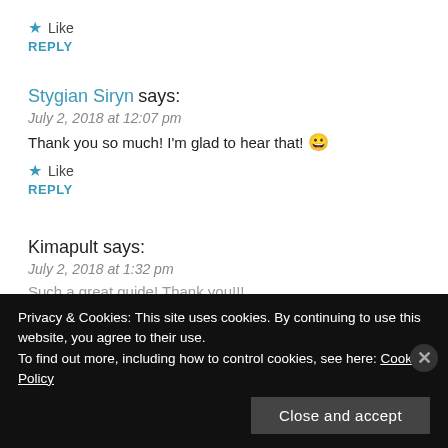★ Like
REPLY
Stygian Siryn says:
July 2, 2018 at 12:07 pm
Thank you so much! I'm glad to hear that! 😀
★ Like
REPLY
Kimapult says:
July 2, 2018 at 1:32 pm
Such a great guide! Thank you!!!
Privacy & Cookies: This site uses cookies. By continuing to use this website, you agree to their use.
To find out more, including how to control cookies, see here: Cookie Policy
Close and accept